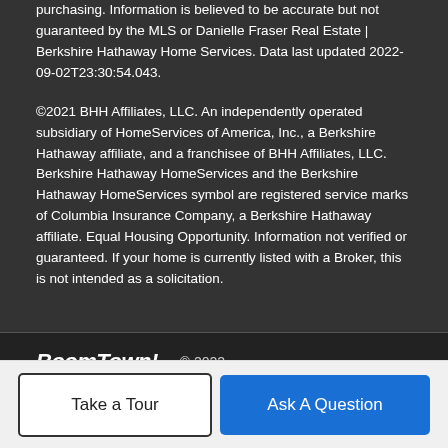purchasing. Information is believed to be accurate but not guaranteed by the MLS or Danielle Fraser Real Estate | Berkshire Hathaway Home Services. Data last updated 2022-09-02T23:30:54.043.
©2021 BHH Affiliates, LLC. An independently operated subsidiary of HomeServices of America, Inc., a Berkshire Hathaway affiliate, and a franchisee of BHH Affiliates, LLC. Berkshire Hathaway HomeServices and the Berkshire Hathaway HomeServices symbol are registered service marks of Columbia Insurance Company, a Berkshire Hathaway affiliate. Equal Housing Opportunity. Information not verified or guaranteed. If your home is currently listed with a Broker, this is not intended as a solicitation.
BoomTown! © 2022 | Terms of Use | Privacy Policy | Accessibility | DMCA | Listings Sitemap
Take a Tour
Ask A Question